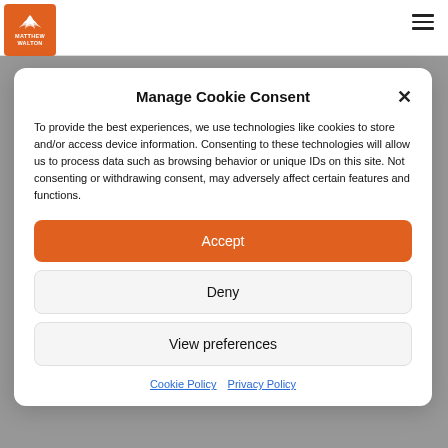MATTHEW WALTON
Manage Cookie Consent
To provide the best experiences, we use technologies like cookies to store and/or access device information. Consenting to these technologies will allow us to process data such as browsing behavior or unique IDs on this site. Not consenting or withdrawing consent, may adversely affect certain features and functions.
Accept
Deny
View preferences
Cookie Policy  Privacy Policy